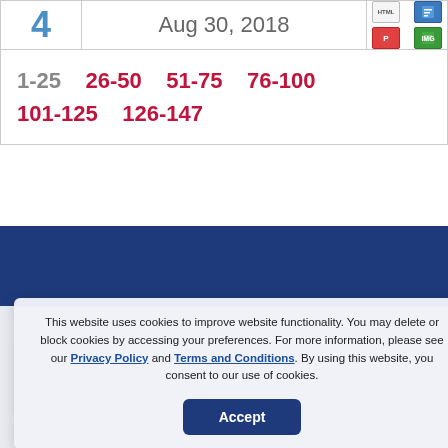| Number | Date | Formats |
| --- | --- | --- |
| 4 | Aug 30, 2018 | [HTML][W][PDF][IMG] |
| 1-25  26-50  51-75  76-100  101-125  126-147 |  |  |
This website uses cookies to improve website functionality. You may delete or block cookies by accessing your preferences. For more information, please see our Privacy Policy and Terms and Conditions. By using this website, you consent to our use of cookies.